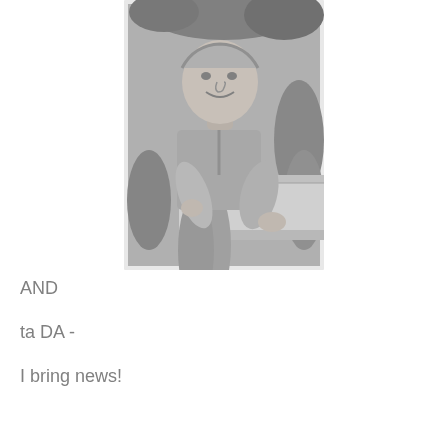[Figure (photo): Black and white photograph of a heavyset man in a polo shirt leaning on a railing or ledge outdoors, surrounded by trees and shrubs. The photo has a white border.]
AND
ta DA -
I bring news!